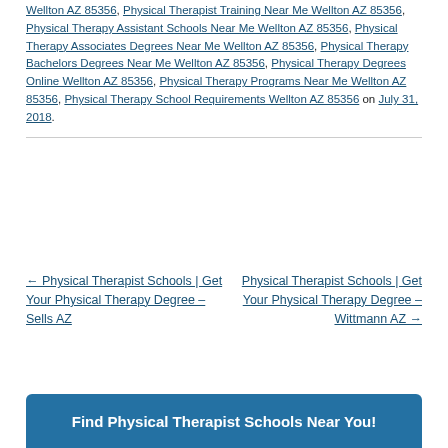Wellton AZ 85356, Physical Therapist Training Near Me Wellton AZ 85356, Physical Therapy Assistant Schools Near Me Wellton AZ 85356, Physical Therapy Associates Degrees Near Me Wellton AZ 85356, Physical Therapy Bachelors Degrees Near Me Wellton AZ 85356, Physical Therapy Degrees Online Wellton AZ 85356, Physical Therapy Programs Near Me Wellton AZ 85356, Physical Therapy School Requirements Wellton AZ 85356 on July 31, 2018.
← Physical Therapist Schools | Get Your Physical Therapy Degree – Sells AZ
Physical Therapist Schools | Get Your Physical Therapy Degree – Wittmann AZ →
Find Physical Therapist Schools Near You!